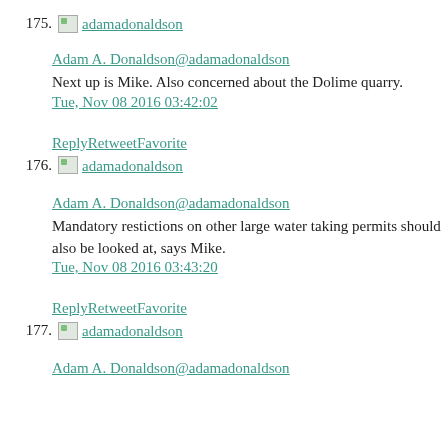175. adamadonaldson
Adam A. Donaldson@adamadonaldson
Next up is Mike. Also concerned about the Dolime quarry.
Tue, Nov 08 2016 03:42:02
ReplyRetweetFavorite
176. adamadonaldson
Adam A. Donaldson@adamadonaldson
Mandatory restictions on other large water taking permits should also be looked at, says Mike.
Tue, Nov 08 2016 03:43:20
ReplyRetweetFavorite
177. adamadonaldson
Adam A. Donaldson@adamadonaldson